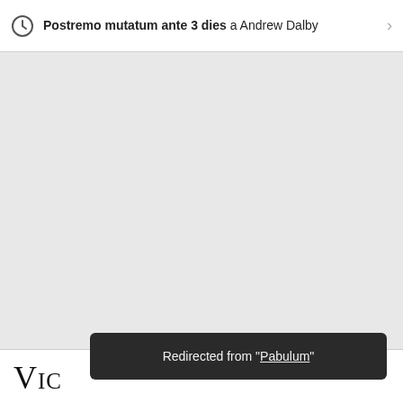Postremo mutatum ante 3 dies a Andrew Dalby
Vic
Redirected from "Pabulum"